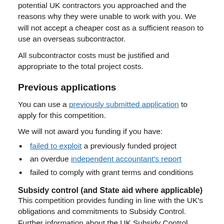potential UK contractors you approached and the reasons why they were unable to work with you. We will not accept a cheaper cost as a sufficient reason to use an overseas subcontractor.
All subcontractor costs must be justified and appropriate to the total project costs.
Previous applications
You can use a previously submitted application to apply for this competition.
We will not award you funding if you have:
failed to exploit a previously funded project
an overdue independent accountant's report
failed to comply with grant terms and conditions
Subsidy control (and State aid where applicable)
This competition provides funding in line with the UK's obligations and commitments to Subsidy Control. Further information about the UK Subsidy Control requirements can be found within the EU UK Trade and Competition...